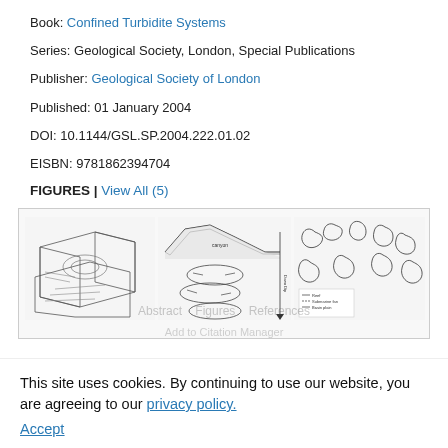Book: Confined Turbidite Systems
Series: Geological Society, London, Special Publications
Publisher: Geological Society of London
Published: 01 January 2004
DOI: 10.1144/GSL.SP.2004.222.01.02
EISBN: 9781862394704
FIGURES | View All (5)
[Figure (illustration): Three scientific diagrams showing turbidite system maps and cross-sections: a 3D block diagram on the left, schematic flow diagrams in the middle, and a map with island/landmass outlines on the right.]
This site uses cookies. By continuing to use our website, you are agreeing to our privacy policy. Accept